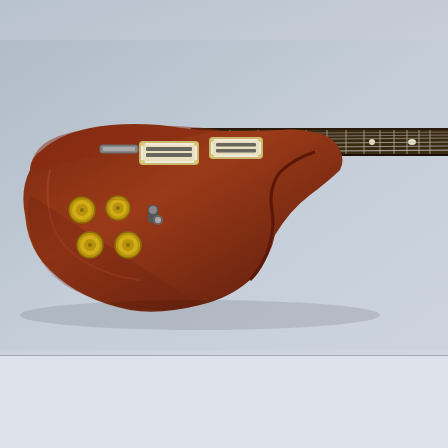[Figure (photo): Electric guitar with dark reddish-brown body and long neck extending to the right. The guitar body has gold knobs and two cream-colored pickups. The neck features fret markers. Shot against a light gray-blue gradient background.]
Login  Register  FAQ  Search
It is currently Sat 27 Aug 2022 03:32 PM
View unanswered posts | View active topics